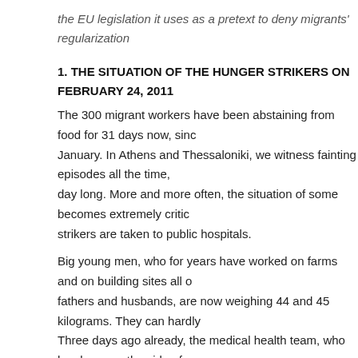the EU legislation it uses as a pretext to deny migrants' regularization
1. THE SITUATION OF THE HUNGER STRIKERS ON FEBRUARY 24, 2011
The 300 migrant workers have been abstaining from food for 31 days now, since January. In Athens and Thessaloniki, we witness fainting episodes all the time, day long. More and more often, the situation of some becomes extremely critical, strikers are taken to public hospitals.
Big young men, who for years have worked on farms and on building sites all over, fathers and husbands, are now weighing 44 and 45 kilograms. They can hardly walk. Three days ago already, the medical health team, who has been on the side of the strikers from day one, spoke clearly: The strikers “have entered a phase where irreversible damage to their health”. They are in danger. In common terminology that their vital organs will be harmed irreversibly, their memory and eyesight will be under threat.
2. THE HUNGER STRIKERS’ SPECIFIC DEMANDS
And why are they risking their lives? Is it because the 300 migrant workers some